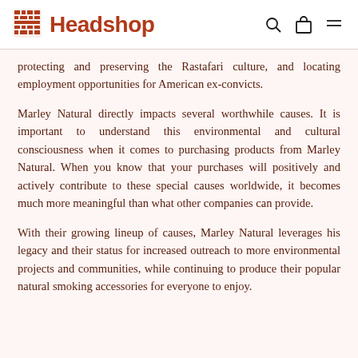Headshop
protecting and preserving the Rastafari culture, and locating employment opportunities for American ex-convicts.
Marley Natural directly impacts several worthwhile causes. It is important to understand this environmental and cultural consciousness when it comes to purchasing products from Marley Natural. When you know that your purchases will positively and actively contribute to these special causes worldwide, it becomes much more meaningful than what other companies can provide.
With their growing lineup of causes, Marley Natural leverages his legacy and their status for increased outreach to more environmental projects and communities, while continuing to produce their popular natural smoking accessories for everyone to enjoy.